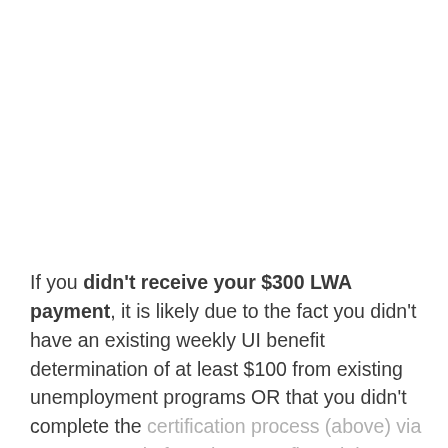If you didn't receive your $300 LWA payment, it is likely due to the fact you didn't have an existing weekly UI benefit determination of at least $100 from existing unemployment programs OR that you didn't complete the certification process (above) via your UI portal. If you have confirmed the above and were eligible,